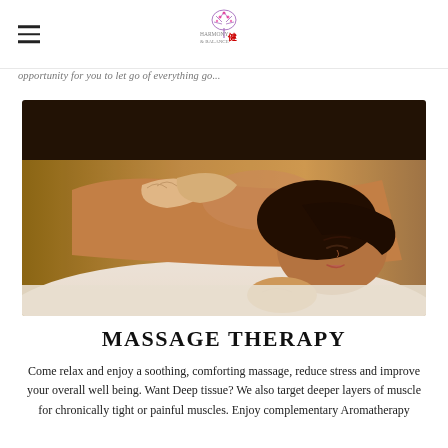[Logo: spa/wellness brand with flower and Chinese character 健]
opportunity for you to let go of everything go...
[Figure (photo): A woman receiving a back and shoulder massage while lying face-down on a massage table, eyes closed and relaxed. The massage therapist's hands are visible working on her upper back/shoulders.]
MASSAGE THERAPY
Come relax and enjoy a soothing, comforting massage, reduce stress and improve your overall well being. Want Deep tissue? We also target deeper layers of muscle for chronically tight or painful muscles. Enjoy complementary Aromatherapy